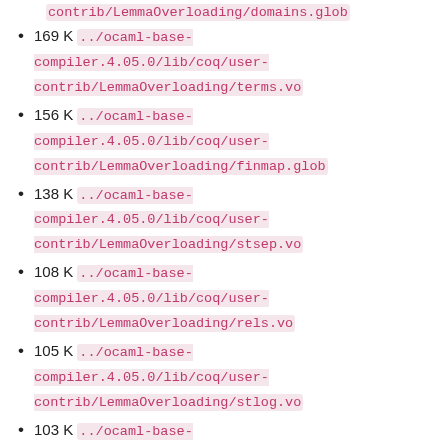contrib/LemmaOverloading/domains.glob
169 K ../ocaml-base-compiler.4.05.0/lib/coq/user-contrib/LemmaOverloading/terms.vo
156 K ../ocaml-base-compiler.4.05.0/lib/coq/user-contrib/LemmaOverloading/finmap.glob
138 K ../ocaml-base-compiler.4.05.0/lib/coq/user-contrib/LemmaOverloading/stsep.vo
108 K ../ocaml-base-compiler.4.05.0/lib/coq/user-contrib/LemmaOverloading/rels.vo
105 K ../ocaml-base-compiler.4.05.0/lib/coq/user-contrib/LemmaOverloading/stlog.vo
103 K ../ocaml-base-compiler.4.05.0/lib/coq/user-contrib/LemmaOverloading/llistR.vo
95 K ../ocaml-base-